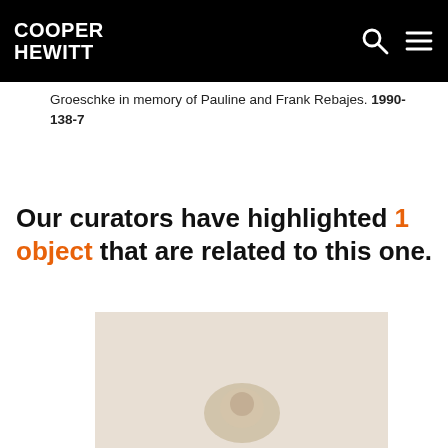COOPER HEWITT
Groeschke in memory of Pauline and Frank Rebajes. 1990-138-7
Our curators have highlighted 1 object that are related to this one.
[Figure (photo): A beige/cream colored brooch or jewelry object on a light background, partially visible at the bottom of the page]